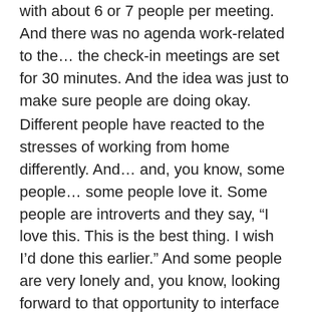with about 6 or 7 people per meeting. And there was no agenda work-related to the… the check-in meetings are set for 30 minutes. And the idea was just to make sure people are doing okay.
Different people have reacted to the stresses of working from home differently. And… and, you know, some people… some people love it. Some people are introverts and they say, “I love this. This is the best thing. I wish I’d done this earlier.” And some people are very lonely and, you know, looking forward to that opportunity to interface with other people. And so, having an opportunity, not just for me to check in on them, but for them to talk to each other and see each other. And so, we’ve been doing that since the beginning.